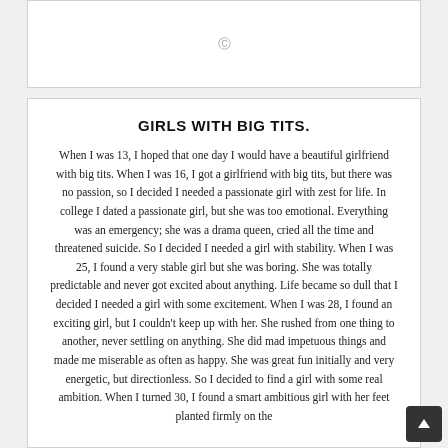[Figure (other): White box with a small circular icon/image placeholder in the center]
GIRLS WITH BIG TITS.
When I was 13, I hoped that one day I would have a beautiful girlfriend with big tits. When I was 16, I got a girlfriend with big tits, but there was no passion, so I decided I needed a passionate girl with zest for life. In college I dated a passionate girl, but she was too emotional. Everything was an emergency; she was a drama queen, cried all the time and threatened suicide. So I decided I needed a girl with stability. When I was 25, I found a very stable girl but she was boring. She was totally predictable and never got excited about anything. Life became so dull that I decided I needed a girl with some excitement. When I was 28, I found an exciting girl, but I couldn't keep up with her. She rushed from one thing to another, never settling on anything. She did mad impetuous things and made me miserable as often as happy. She was great fun initially and very energetic, but directionless. So I decided to find a girl with some real ambition. When I turned 30, I found a smart ambitious girl with her feet planted firmly on the